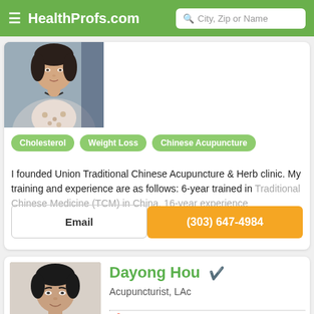HealthProfs.com | City, Zip or Name
[Figure (photo): Partial photo of a woman in a grey blazer, cut off at top of card]
Cholesterol
Weight Loss
Chinese Acupuncture
I founded Union Traditional Chinese Acupuncture & Herb clinic. My training and experience are as follows: 6-year trained in Traditional Chinese Medicine (TCM) in China, 16-year experience
Email
(303) 647-4984
[Figure (photo): Photo of Dayong Hou, a man with short dark hair, wearing a grey collared shirt]
Dayong Hou
Acupuncturist, LAc
Centennial, CO 80112